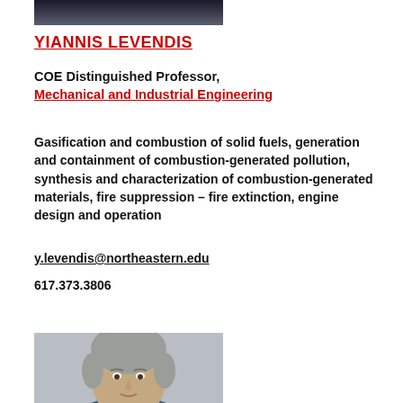[Figure (photo): Partial photo of Yiannis Levendis, top portion cropped, showing dark background]
YIANNIS LEVENDIS
COE Distinguished Professor,
Mechanical and Industrial Engineering
Gasification and combustion of solid fuels, generation and containment of combustion-generated pollution, synthesis and characterization of combustion-generated materials, fire suppression – fire extinction, engine design and operation
y.levendis@northeastern.edu
617.373.3806
[Figure (photo): Photo of another person, showing head and shoulders, gray-haired man, bottom portion of page]